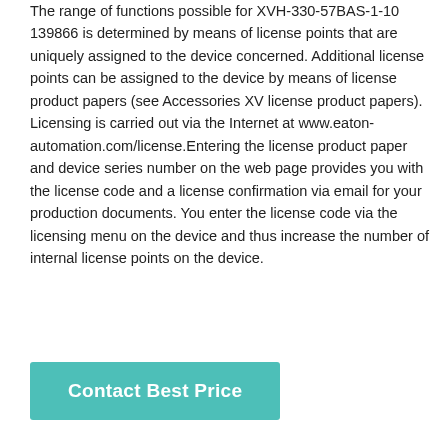The range of functions possible for XVH-330-57BAS-1-10 139866 is determined by means of license points that are uniquely assigned to the device concerned. Additional license points can be assigned to the device by means of license product papers (see Accessories XV license product papers). Licensing is carried out via the Internet at www.eaton-automation.com/license.Entering the license product paper and device series number on the web page provides you with the license code and a license confirmation via email for your production documents. You enter the license code via the licensing menu on the device and thus increase the number of internal license points on the device.
Contact Best Price